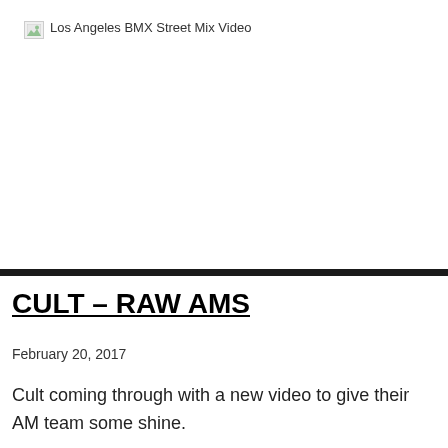[Figure (photo): Broken image placeholder for 'Los Angeles BMX Street Mix Video']
CULT – RAW AMS
February 20, 2017
Cult coming through with a new video to give their AM team some shine.